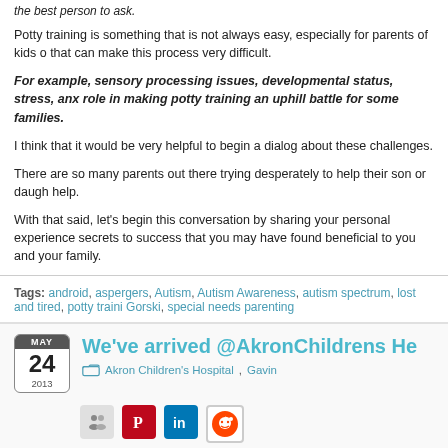Potty training is something that is not always easy, especially for parents of kids that can make this process very difficult.
For example, sensory processing issues, developmental status, stress, anx role in making potty training an uphill battle for some families.
I think that it would be very helpful to begin a dialog about these challenges.
There are so many parents out there trying desperately to help their son or daugh help.
With that said, let's begin this conversation by sharing your personal experience secrets to success that you may have found beneficial to you and your family.
Tags: android, aspergers, Autism, Autism Awareness, autism spectrum, lost and tired, potty traini Gorski, special needs parenting
We've arrived @AkronChildrens He
Akron Children's Hospital, Gavin